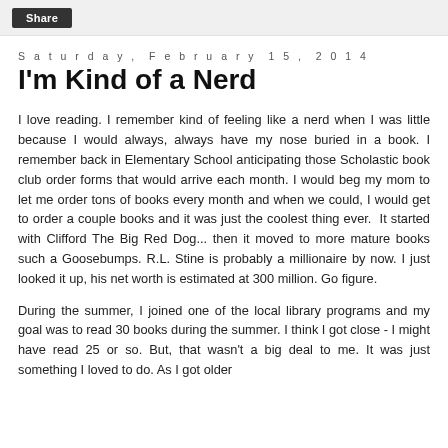Share
Saturday, February 15, 2014
I'm Kind of a Nerd
I love reading. I remember kind of feeling like a nerd when I was little because I would always, always have my nose buried in a book. I remember back in Elementary School anticipating those Scholastic book club order forms that would arrive each month. I would beg my mom to let me order tons of books every month and when we could, I would get to order a couple books and it was just the coolest thing ever.  It started with Clifford The Big Red Dog... then it moved to more mature books such a Goosebumps. R.L. Stine is probably a millionaire by now. I just looked it up, his net worth is estimated at 300 million. Go figure.
During the summer, I joined one of the local library programs and my goal was to read 30 books during the summer. I think I got close - I might have read 25 or so. But, that wasn't a big deal to me. It was just something I loved to do. As I got older